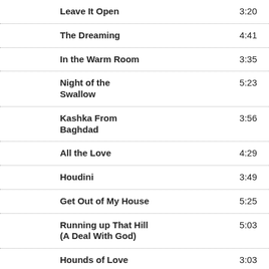Leave It Open — 3:20
The Dreaming — 4:41
In the Warm Room — 3:35
Night of the Swallow — 5:23
Kashka From Baghdad — 3:56
All the Love — 4:29
Houdini — 3:49
Get Out of My House — 5:25
Running up That Hill (A Deal With God) — 5:03
Hounds of Love — 3:03